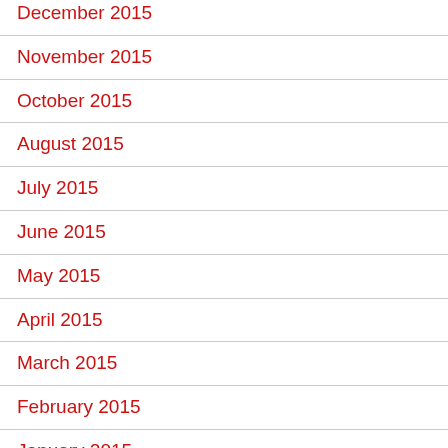December 2015
November 2015
October 2015
August 2015
July 2015
June 2015
May 2015
April 2015
March 2015
February 2015
January 2015